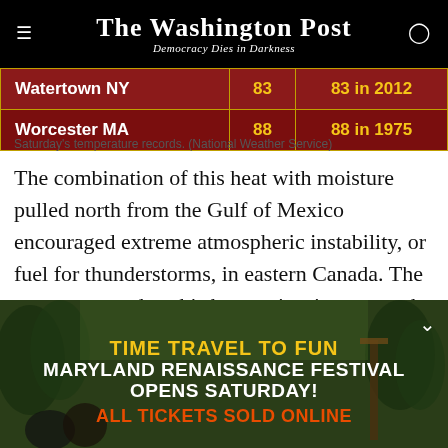The Washington Post — Democracy Dies in Darkness
| Watertown NY | 83 | 83 in 2012 |
| Worcester MA | 88 | 88 in 1975 |
Saturday's temperature records. (National Weather Service)
The combination of this heat with moisture pulled north from the Gulf of Mexico encouraged extreme atmospheric instability, or fuel for thunderstorms, in eastern Canada. The storms erupted as this hot, moist air was met by a strong cold front marching eastward.
[Figure (photo): Advertisement banner for Maryland Renaissance Festival with festival imagery of costumed performers in a wooded outdoor setting.]